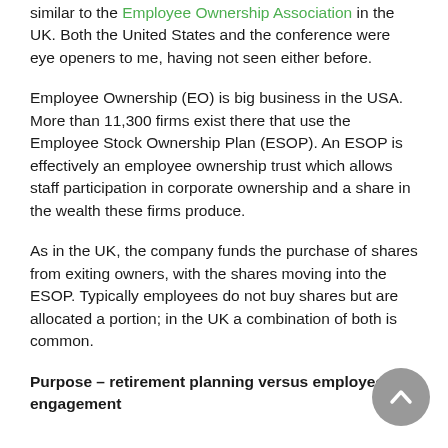similar to the Employee Ownership Association in the UK. Both the United States and the conference were eye openers to me, having not seen either before.
Employee Ownership (EO) is big business in the USA. More than 11,300 firms exist there that use the Employee Stock Ownership Plan (ESOP). An ESOP is effectively an employee ownership trust which allows staff participation in corporate ownership and a share in the wealth these firms produce.
As in the UK, the company funds the purchase of shares from exiting owners, with the shares moving into the ESOP. Typically employees do not buy shares but are allocated a portion; in the UK a combination of both is common.
Purpose – retirement planning versus employee engagement